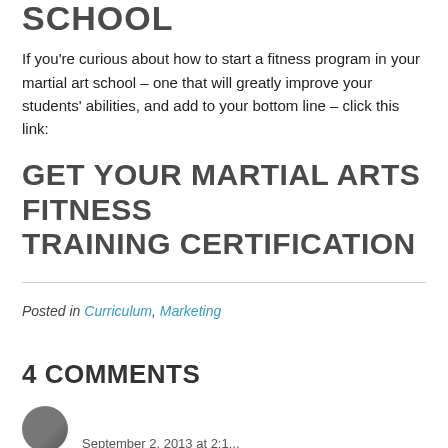SCHOOL
If you're curious about how to start a fitness program in your martial art school – one that will greatly improve your students' abilities, and add to your bottom line – click this link:
GET YOUR MARTIAL ARTS FITNESS TRAINING CERTIFICATION
Posted in Curriculum, Marketing
4 COMMENTS